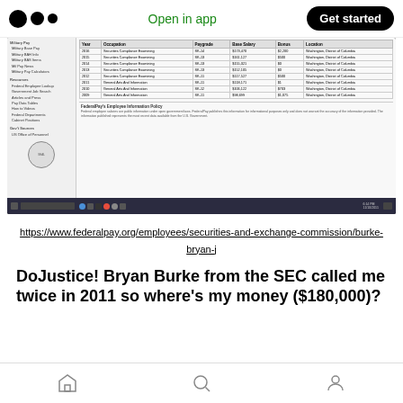Medium app header with logo, 'Open in app', and 'Get started' button
[Figure (screenshot): Screenshot of FederalPay.org page showing Bryan Burke's SEC employee salary data table with columns: Year, Occupation, Paygrade, Base Salary, Bonus, Location. Rows include data from 2009-2016 including Securities Compliance Examining and General Arts and Information roles. Page also shows FederalPay Employee Information Policy text and a government seal logo. Browser taskbar visible at bottom.]
https://www.federalpay.org/employees/securities-and-exchange-commission/burke-bryan-j
DoJustice! Bryan Burke from the SEC called me twice in 2011 so where's my money ($180,000)?
Home, Search, Profile navigation icons